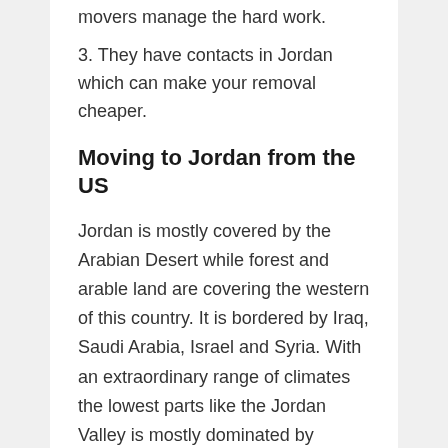movers manage the hard work.
3. They have contacts in Jordan which can make your removal cheaper.
Moving to Jordan from the US
Jordan is mostly covered by the Arabian Desert while forest and arable land are covering the western of this country. It is bordered by Iraq, Saudi Arabia, Israel and Syria. With an extraordinary range of climates the lowest parts like the Jordan Valley is mostly dominated by humidity and summer heat.
Economic wise Jordan is having a superior standard of life due to decades of political stability. In comparison to other countries in the Middle East, Jordan is one of the